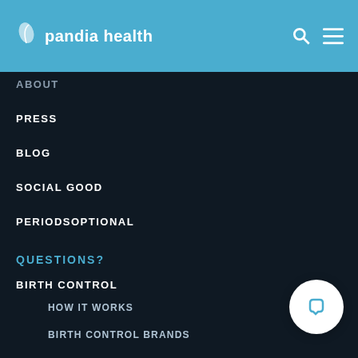pandia health
ABOUT
PRESS
BLOG
SOCIAL GOOD
PERIODSOPTIONAL
QUESTIONS?
BIRTH CONTROL
HOW IT WORKS
BIRTH CONTROL BRANDS
ACNE TREATMENT
ACNE TREATMENT BRANDS
HOW IT WORKS